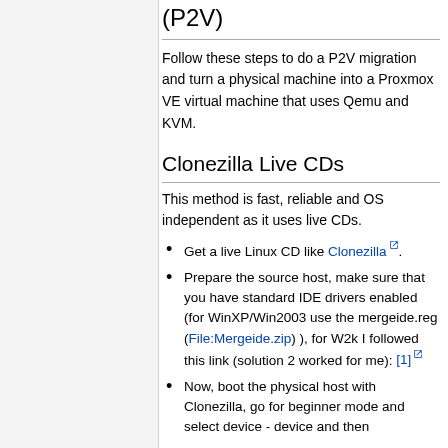(P2V)
Follow these steps to do a P2V migration and turn a physical machine into a Proxmox VE virtual machine that uses Qemu and KVM.
Clonezilla Live CDs
This method is fast, reliable and OS independent as it uses live CDs.
Get a live Linux CD like Clonezilla.
Prepare the source host, make sure that you have standard IDE drivers enabled (for WinXP/Win2003 use the mergeide.reg (File:Mergeide.zip) ), for W2k I followed this link (solution 2 worked for me): [1]
Now, boot the physical host with Clonezilla, go for beginner mode and select device - device and then